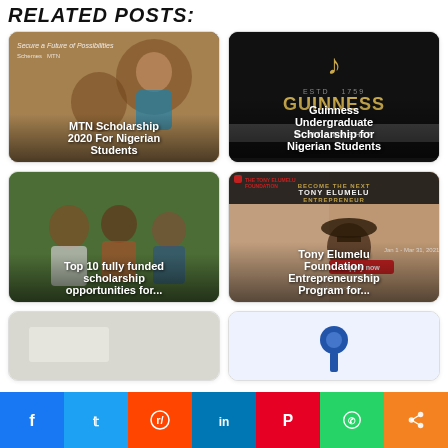RELATED POSTS:
[Figure (photo): MTN Scholarship 2020 For Nigerian Students - photo of smiling Nigerian student with text overlay]
[Figure (photo): Guinness Undergraduate Scholarship for Nigerian Students - black background with Guinness harp logo]
[Figure (photo): Top 10 fully funded scholarship opportunities for... - group of students studying outdoors]
[Figure (photo): Tony Elumelu Foundation Entrepreneurship Program for... - promotional image with text overlay]
[Figure (photo): Partial card - white/light background]
[Figure (photo): Partial card - blue pushpin icon]